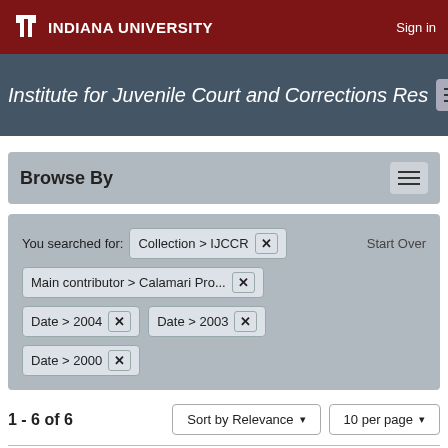INDIANA UNIVERSITY | Sign in
Institute for Juvenile Court and Corrections Res...
Browse By
You searched for: Collection > IJCCR [x]   Start Over
Main contributor > Calamari Pro... [x]
Date > 2004 [x]   Date > 2003 [x]
Date > 2000 [x]
1 - 6 of 6   Sort by Relevance ▾   10 per page ▾